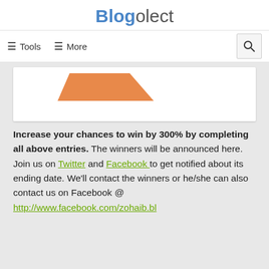Blogolect
≡ Tools   ≡ More
[Figure (illustration): Partial orange chevron/arrow shape visible at top of a white card]
Increase your chances to win by 300% by completing all above entries. The winners will be announced here. Join us on Twitter and Facebook to get notified about its ending date. We'll contact the winners or he/she can also contact us on Facebook @ http://www.facebook.com/zohaib.bl